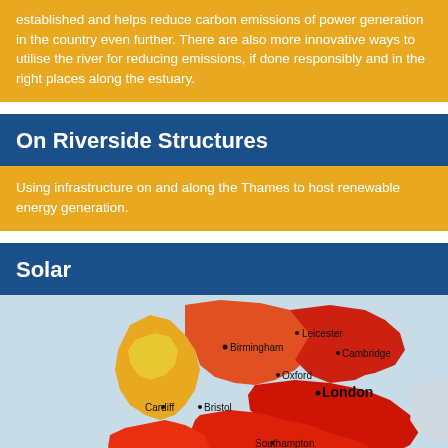established and helps reduce carbon emissions of power generation in the country even further. There are also more innovative ways to utilise the river for reducing emissions, if done responsibly and in the right places along the estuary.
On Riverside Structures
Using infrastructure on and along the Thames to host renewable energy generation.
Solar
[Figure (map): Solar irradiance heat map of southern England and Wales showing cities including Birmingham, Leicester, Cambridge, Oxford, Cardiff, Bristol, London, Southampton, Plymouth. Colors range from yellow/gold in central areas to deep red/orange in the south and southwest, indicating higher solar energy potential.]